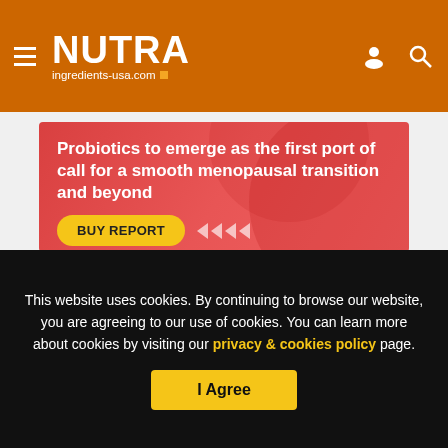NUTRA ingredients-usa.com
[Figure (illustration): Red promotional banner for a report about probiotics and menopausal transition, with a BUY REPORT button and navigation arrows]
Probiotics to emerge as the first port of call for a smooth menopausal transition and beyond
This website uses cookies. By continuing to browse our website, you are agreeing to our use of cookies. You can learn more about cookies by visiting our privacy & cookies policy page.
I Agree